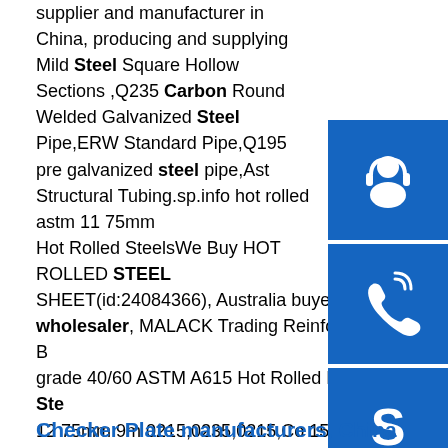supplier and manufacturer in China, producing and supplying Mild Steel Square Hollow Sections ,Q235 Carbon Round Welded Galvanized Steel Pipe,ERW Standard Pipe,Q195 pre galvanized steel pipe,Ast Structural Tubing.sp.info hot rolled astm 11 75mm Hot Rolled SteelsWe Buy HOT ROLLED STEEL SHEET(id:24084366), Australia buyer, importer, wholesaler, MALACK Trading Reinformed Steel B grade 40/60 ASTM A615 Hot Rolled Round Bar Ste 12 75mm 9m 0215,0235,0215,Co 15max Si 0.60max Mn 0.30 Max Rabars,Reinforcing Bar Deformed Steel sp.info Home - UpState SteelWELCOME TO UPS STEEL For nearly 20 years, Upstate Steel has provided machine and fabrication shops, quarries, contractors, masons, welders, recycling centers, homeowners and more throughout Western New York and the United States with a full complement of steel, stainless and aluminum products and services.
Checker Plate manufacturers, China